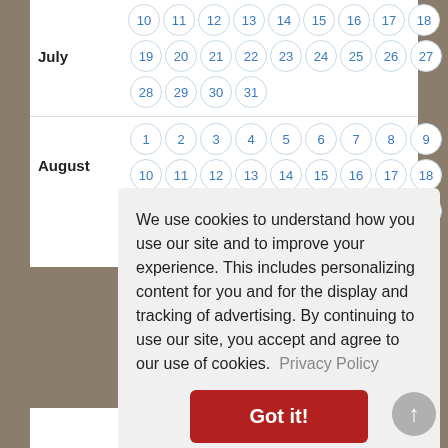July — days: 10,11,12,13,14,15,16,17,18 / 19,20,21,22,23,24,25,26,27 / 28,29,30,31
August — days: 1,2,3,4,5,6,7,8,9 / 10,11,12,13,14,15,16,17,18 / 19,20,21,22,23,24,25,26,27
We use cookies to understand how you use our site and to improve your experience. This includes personalizing content for you and for the display and tracking of advertising. By continuing to use our site, you accept and agree to our use of cookies. Privacy Policy
Got it!